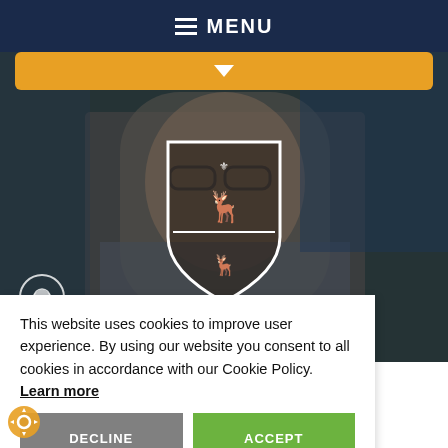☰ MENU
[Figure (screenshot): Orange dropdown bar with white downward arrow]
[Figure (photo): Background photo of a man in a suit with glasses smiling, in a classroom or office setting, overlaid with a university shield/crest logo in white and a circular icon in the lower left]
This website uses cookies to improve user experience. By using our website you consent to all cookies in accordance with our Cookie Policy. Learn more
DECLINE
ACCEPT